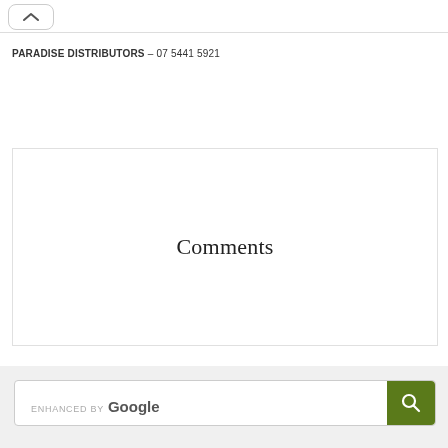[Figure (screenshot): Navigation tab/button with an up chevron arrow at the top of the page]
PARADISE DISTRIBUTORS – 07 5441 5921
Comments
[Figure (screenshot): Google enhanced search bar with search button]